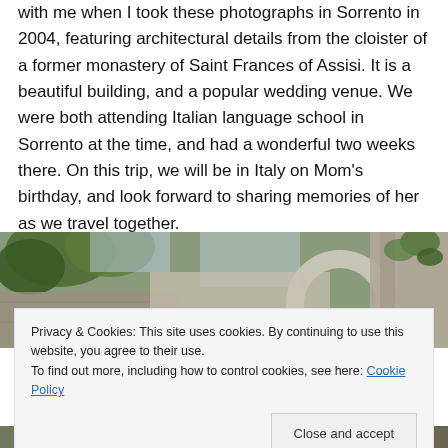with me when I took these photographs in Sorrento in 2004, featuring architectural details from the cloister of a former monastery of Saint Frances of Assisi. It is a beautiful building, and a popular wedding venue. We were both attending Italian language school in Sorrento at the time, and had a wonderful two weeks there. On this trip, we will be in Italy on Mom's birthday, and look forward to sharing memories of her as we travel together.
[Figure (photo): Photograph showing architectural details from a cloister, with green ivy/leaves visible against stone walls and a circular stone element.]
Privacy & Cookies: This site uses cookies. By continuing to use this website, you agree to their use.
To find out more, including how to control cookies, see here: Cookie Policy
[Figure (photo): Partial photograph at bottom of page showing outdoor scene.]